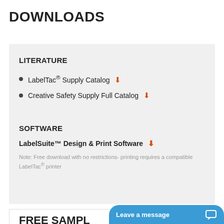DOWNLOADS
LITERATURE
LabelTac® Supply Catalog ⬇
Creative Safety Supply Full Catalog ⬇
SOFTWARE
LabelSuite™ Design & Print Software ⬇
Note: Free download with no restrictions- printing requires a compatible LabelTac® printer
FREE SAMPL
Leave a message